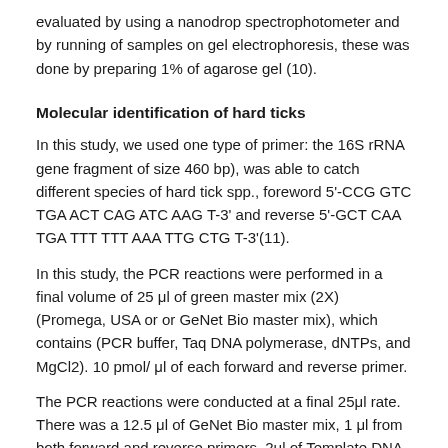evaluated by using a nanodrop spectrophotometer and by running of samples on gel electrophoresis, these was done by preparing 1% of agarose gel (10).
Molecular identification of hard ticks
In this study, we used one type of primer: the 16S rRNA gene fragment of size 460 bp), was able to catch different species of hard tick spp., foreword 5'-CCG GTC TGA ACT CAG ATC AAG T-3' and reverse 5'-GCT CAA TGA TTT TTT AAA TTG CTG T-3'(11).
In this study, the PCR reactions were performed in a final volume of 25 μl of green master mix (2X) (Promega, USA or or GeNet Bio master mix), which contains (PCR buffer, Taq DNA polymerase, dNTPs, and MgCl2). 10 pmol/ μl of each forward and reverse primer.
The PCR reactions were conducted at a final 25μl rate. There was a 12.5 μl of GeNet Bio master mix, 1 μl from both forward and reverse primers, 2μl of Template DNA and Complete the volume to 25μl with added of 8.5 μl nuclease-free water. According to Mangold et al. (11), the cycler state of PCR was defined as outlined in table 1.